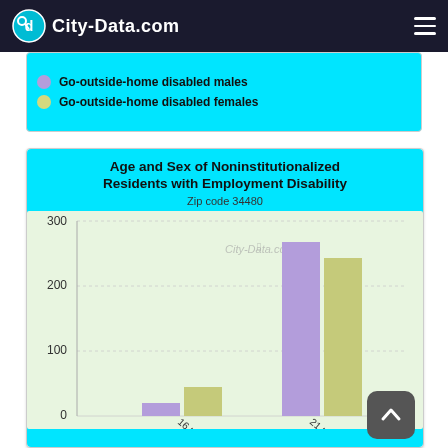City-Data.com
[Figure (other): Partial legend strip showing 'Go-outside-home disabled males' (purple dot) and 'Go-outside-home disabled females' (olive dot) from a previous chart]
[Figure (grouped-bar-chart): Age and Sex of Noninstitutionalized Residents with Employment Disability]